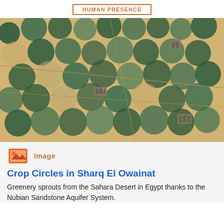Human Presence
[Figure (photo): Satellite aerial image of circular crop irrigation fields (center-pivot irrigation) in the Sahara Desert at Sharq El Owainat, Egypt. The image shows dozens of large circular green and dark teal crop circles contrasting with the sandy beige desert floor, viewed from above.]
Image
Crop Circles in Sharq El Owainat
Greenery sprouts from the Sahara Desert in Egypt thanks to the Nubian Sandstone Aquifer System.